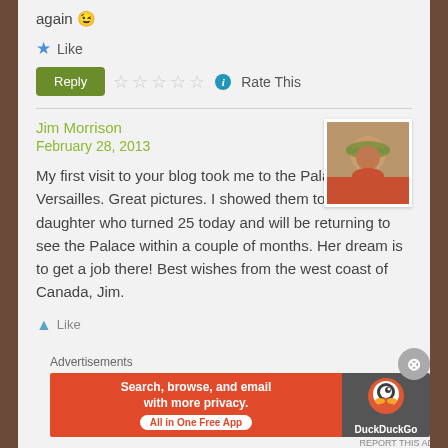again 😉
★ Like
[Figure (screenshot): Reply button (green), five empty star rating icons, info icon, and 'Rate This' text]
Jim Morrison
February 28, 2013
[Figure (photo): Avatar photo of Jim Morrison wearing a hat, orange shirt]
My first visit to your blog took me to the Palace of Versailles. Great pictures. I showed them to my daughter who turned 25 today and will be returning to see the Palace within a couple of months. Her dream is to get a job there! Best wishes from the west coast of Canada, Jim.
↑ Like
Advertisements
[Figure (screenshot): DuckDuckGo advertisement banner: 'Search, browse, and email with more privacy. All in One Free App']